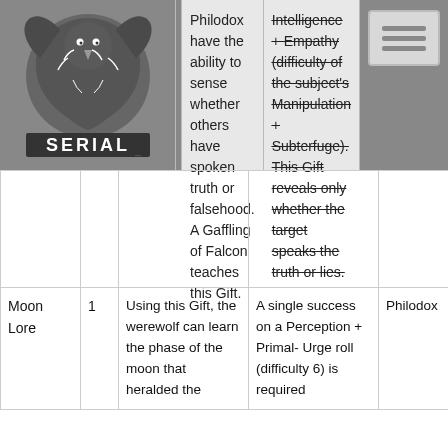[Figure (logo): SERIAL logo with lion/eagle crest and text SERIAL]
| Name | Level | Description | System | Notes |
| --- | --- | --- | --- | --- |
|  |  | Philodox have the ability to sense whether others have spoken truth or falsehood. A Gaffling of Falcon teaches this Gift. | Intelligence + Empathy (difficulty of the subject's Manipulation + Subterfuge). This Gift reveals only whether the target speaks the truth or lies. |  |
| Moon Lore | 1 | Using this Gift, the werewolf can learn the phase of the moon that heralded the | A single success on a Perception + Primal- Urge roll (difficulty 6) is required | Philodox |